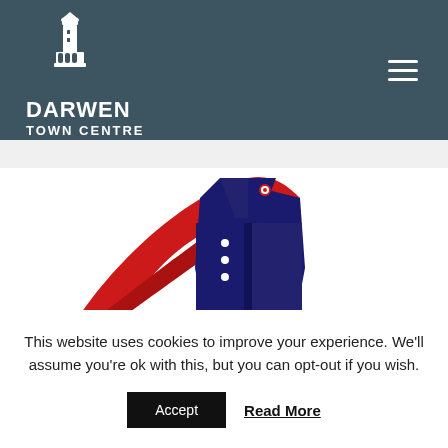[Figure (logo): Darwen Town Centre logo with lighthouse icon, white on teal/dark background, with hamburger menu icon top right]
[Figure (logo): Wrap Up logo showing a navy blue coat with red swoosh graphic and partial text 'WRAP UP' visible]
This website uses cookies to improve your experience. We'll assume you're ok with this, but you can opt-out if you wish.
Accept
Read More